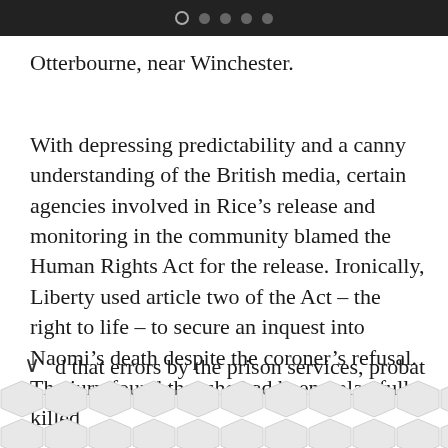Otterbourne, near Winchester.
With depressing predictability and a canny understanding of the British media, certain agencies involved in Rice's release and monitoring in the community blamed the Human Rights Act for the release. Ironically, Liberty used article two of the Act – the right to life – to secure an inquest into Naomi's death despite the coroner's refusal. The jury found that she had been unlawfully killed and that errors by the prison services, probation